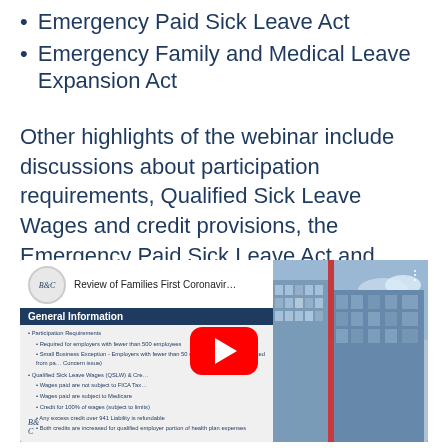Emergency Paid Sick Leave Act
Emergency Family and Medical Leave Expansion Act
Other highlights of the webinar include discussions about participation requirements, Qualified Sick Leave Wages and credit provisions, the Emergency Paid Sick Leave Act and more.
[Figure (screenshot): YouTube video thumbnail showing a webinar titled 'Review of Families First Coronavir...' with a slide displaying 'General Information' covering Participation Requirements and Qualified Sick Leave Wages (QSLW) & Credits, with a B&C logo and a building image on the right. A red YouTube play button overlay is visible.]